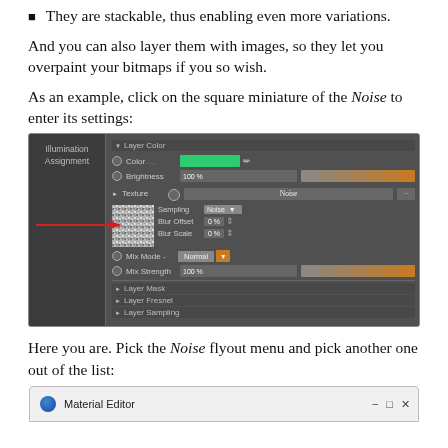They are stackable, thus enabling even more variations.
And you can also layer them with images, so they let you overpaint your bitmaps if you so wish.
As an example, click on the square miniature of the Noise to enter its settings:
[Figure (screenshot): Screenshot of a 3D software material editor panel showing Layer Color settings with Color, Brightness, and Texture fields. The Texture field shows 'Noise' selected with a noise thumbnail visible. A red arrow points to the noise settings showing Sampling, Blur Offset 0%, and Blur Scale 0% fields. Below are Mix Mode (Normal) and Mix Strength (100%) settings. At the bottom are collapsed Layer Mask, Layer Fresnel, and Layer Sampling sections. Left panel shows Illumination Assignment.]
Here you are. Pick the Noise flyout menu and pick another one out of the list:
[Figure (screenshot): Bottom portion of a Material Editor window showing the title bar with minimize, restore, and close buttons.]